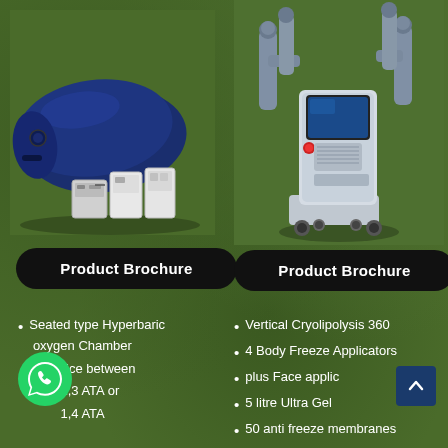[Figure (photo): Blue seated hyperbaric oxygen chamber with accessory equipment (compressor and concentrator units) on a green background]
[Figure (photo): Vertical Cryolipolysis 360 machine - white and gray medical device on wheels with screen on top, on a green background]
Product Brochure
Product Brochure
Seated type Hyperbaric oxygen Chamber
Choice between
1,3 ATA or
1,4 ATA
Vertical Cryolipolysis 360
4 Body Freeze Applicators
plus Face applicator
5 litre Ultra Gel
50 anti freeze membranes
Massage bed